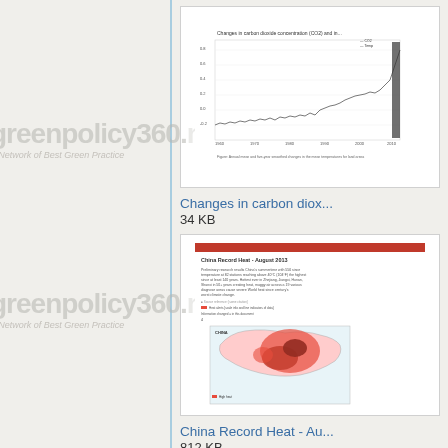[Figure (screenshot): Thumbnail of a line chart showing changes in carbon dioxide concentrations over time]
Changes in carbon diox...
34 KB
[Figure (screenshot): Thumbnail of a document page about China Record Heat with text content and a map of China showing heat distribution in red/orange]
China Record Heat - Au...
812 KB
[Figure (screenshot): Partial thumbnail of a third document (partially visible at bottom)]